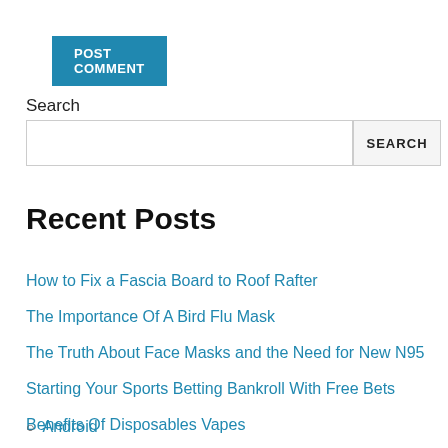POST COMMENT
Search
SEARCH
Recent Posts
How to Fix a Fascia Board to Roof Rafter
The Importance Of A Bird Flu Mask
The Truth About Face Masks and the Need for New N95
Starting Your Sports Betting Bankroll With Free Bets
Benefits Of Disposables Vapes
Android